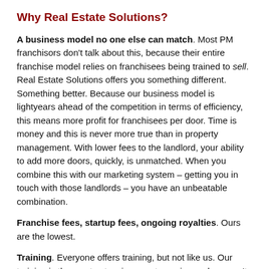Why Real Estate Solutions?
A business model no one else can match. Most PM franchisors don't talk about this, because their entire franchise model relies on franchisees being trained to sell. Real Estate Solutions offers you something different. Something better. Because our business model is lightyears ahead of the competition in terms of efficiency, this means more profit for franchisees per door. Time is money and this is never more true than in property management. With lower fees to the landlord, your ability to add more doors, quickly, is unmatched. When you combine this with our marketing system – getting you in touch with those landlords – you have an unbeatable combination.
Franchise fees, startup fees, ongoing royalties. Ours are the lowest.
Training. Everyone offers training, but not like us. Our training is the most extensive, most ongoing and we won't nickel-and-dime any franchisees who need additional support. Franchisees are a top priority, your success is our success.